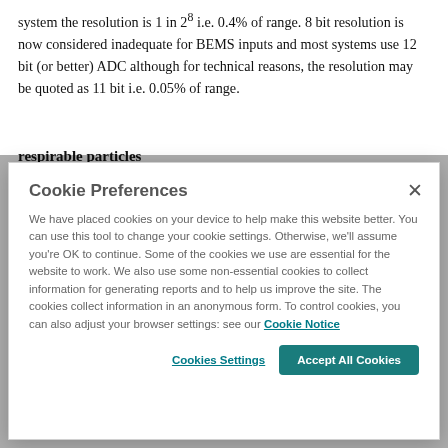system the resolution is 1 in 28 i.e. 0.4% of range. 8 bit resolution is now considered inadequate for BEMS inputs and most systems use 12 bit (or better) ADC although for technical reasons, the resolution may be quoted as 11 bit i.e. 0.05% of range.
respirable particles
Particles that penetrate into and are deposited in the
[Figure (screenshot): Cookie Preferences modal dialog overlay. Title: 'Cookie Preferences' with an X close button. Body text explaining cookie usage and a link 'Cookie Notice'. Two buttons at bottom: 'Cookies Settings' (text link style) and 'Accept All Cookies' (teal button).]